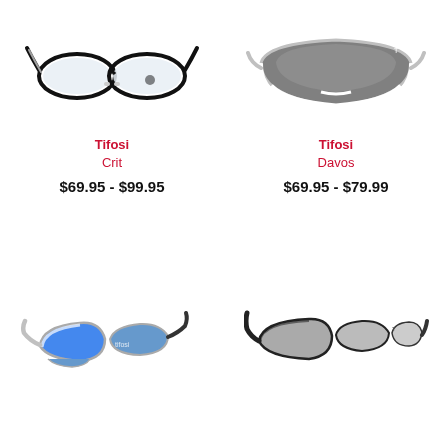[Figure (photo): Tifosi Crit sport sunglasses, black frame with white accents, clear lenses, front view]
Tifosi
Crit
$69.95 - $99.95
[Figure (photo): Tifosi Davos sport sunglasses, white frame, dark grey shield lens, front view]
Tifosi
Davos
$69.95 - $79.99
[Figure (photo): Tifosi sport sunglasses, white silver frame, blue mirrored lens, three-quarter view]
[Figure (photo): Tifosi sport sunglasses, black frame, grey lens, three-quarter view]